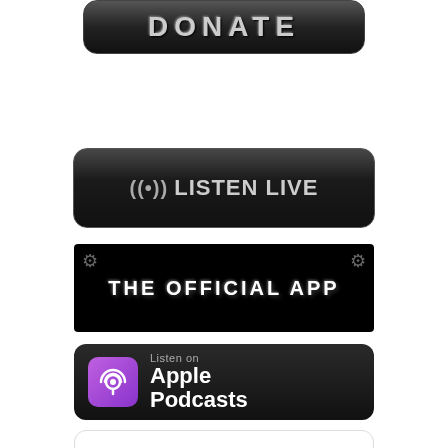[Figure (illustration): DONATE button with dark gradient background and rounded corners, gray metallic text]
[Figure (illustration): LISTEN LIVE button with radio wave icon and dark gradient background, gray text]
[Figure (illustration): THE OFFICIAL APP button with black background, gear icons at corners, bold white distressed text]
[Figure (illustration): Listen on Apple Podcasts badge with purple podcast icon on dark background]
[Figure (illustration): Listen on Google Podcasts badge with colorful bar icon on white background]